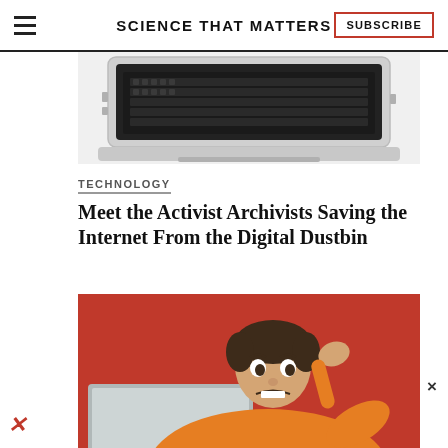SCIENCE THAT MATTERS | SUBSCRIBE
[Figure (photo): Partial view of an open laptop computer from above, silver/gray, on white background]
TECHNOLOGY
Meet the Activist Archivists Saving the Internet From the Digital Dustbin
[Figure (photo): Woman in yellow sweater with short brown hair looking stressed/frustrated, sitting in front of laptop, against bright red background. Hand raised to head.]